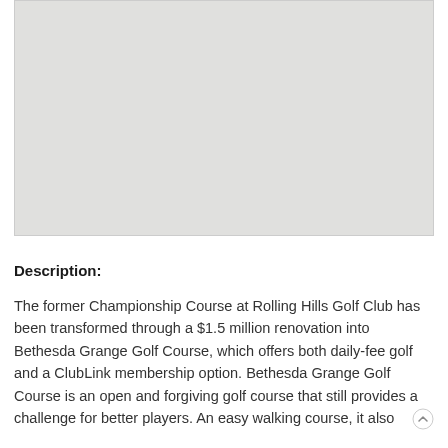[Figure (map): Gray placeholder map image showing a geographical area, likely showing the location of Bethesda Grange Golf Course.]
Description:
The former Championship Course at Rolling Hills Golf Club has been transformed through a $1.5 million renovation into Bethesda Grange Golf Course, which offers both daily-fee golf and a ClubLink membership option. Bethesda Grange Golf Course is an open and forgiving golf course that still provides a challenge for better players. An easy walking course, it also